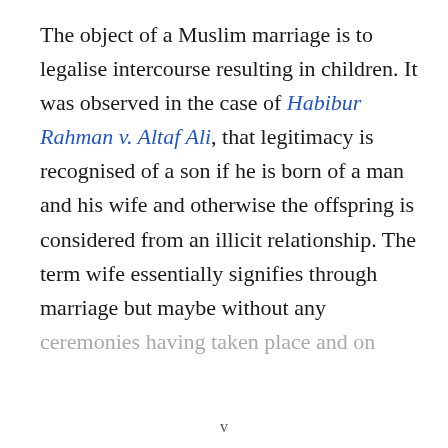The object of a Muslim marriage is to legalise intercourse resulting in children. It was observed in the case of Habibur Rahman v. Altaf Ali, that legitimacy is recognised of a son if he is born of a man and his wife and otherwise the offspring is considered from an illicit relationship. The term wife essentially signifies through marriage but maybe without any ceremonies having taken place and on...
v